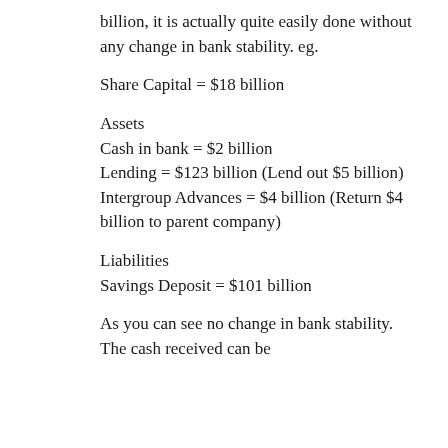billion, it is actually quite easily done without any change in bank stability. eg.
Share Capital = $18 billion
Assets
Cash in bank = $2 billion
Lending = $123 billion (Lend out $5 billion)
Intergroup Advances = $4 billion (Return $4 billion to parent company)
Liabilities
Savings Deposit = $101 billion
As you can see no change in bank stability. The cash received can be